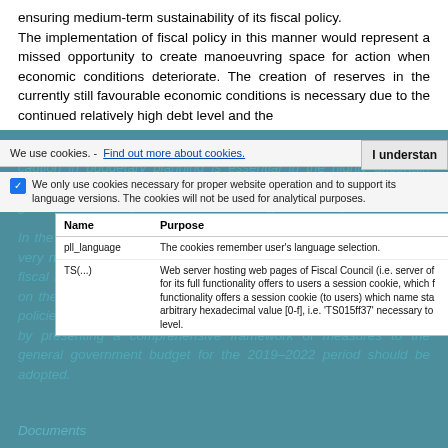ensuring medium-term sustainability of its fiscal policy. The implementation of fiscal policy in this manner would represent a missed opportunity to create manoeuvring space for action when economic conditions deteriorate. The creation of reserves in the currently still favourable economic conditions is necessary due to the continued relatively high debt level and the
expected negative fiscal impact of demographic changes. Moreover, caution in budgetary planning is essential in the highly uncertain macroeconomic environment, given the prevailing low economic growth and limited possibilities for reducing interest expenditure.
We use cookies. - Find out more about cookies.
We only use cookies necessary for proper website operation and to support its language versions. The cookies will not be used for analytical purposes.
| Name | Purpose |
| --- | --- |
| pll_language | The cookies remember user's language selection. |
| TS(...) | Web server hosting web pages of Fiscal Council (i.e. server of for its full functionality offers to users a session cookie, which f functionality offers a session cookie (to users) which name sta arbitrary hexadecimal value [0-f], i.e. 'TS015ff37' necessary to level. |
In the Fiscal Council's opinion, policies should be formulated in the very next stages of budgetary process in order to ensure structural fiscal balance in 2019 already. In addition, the Government should, on the adoption of the Stability Programme next spring, present its policies aimed at comprehensively addressing long-term challenges by presenting a comprehensive framework of measures to the general government budget for the 2019–2022 period should be adopted.
Documents